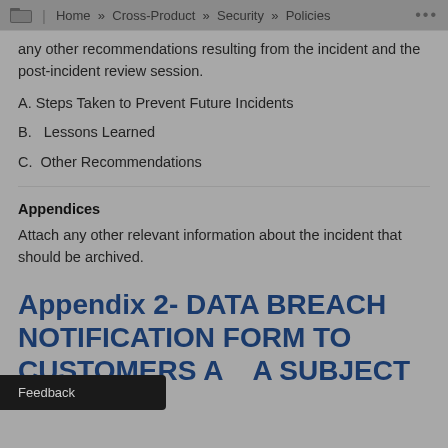Home » Cross-Product » Security » Policies
any other recommendations resulting from the incident and the post-incident review session.
A. Steps Taken to Prevent Future Incidents
B.   Lessons Learned
C.  Other Recommendations
Appendices
Attach any other relevant information about the incident that should be archived.
Appendix 2- DATA BREACH NOTIFICATION FORM TO CUSTOMERS A   A SUBJECT